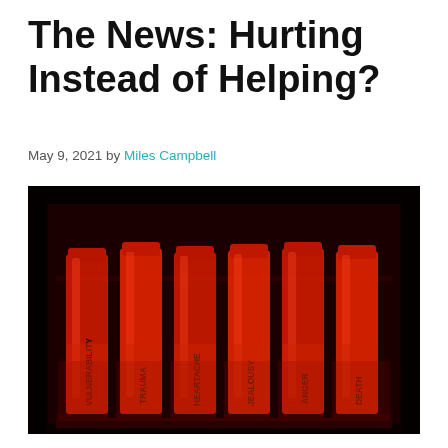The News: Hurting Instead of Helping?
May 9, 2021 by Miles Campbell
[Figure (photo): Red-lit laboratory test tubes in a rack, each labeled with dark text: VULNERABILITY, TRAUMA, HEARTACHE, JEALOUSY, ANGER, DEATH]